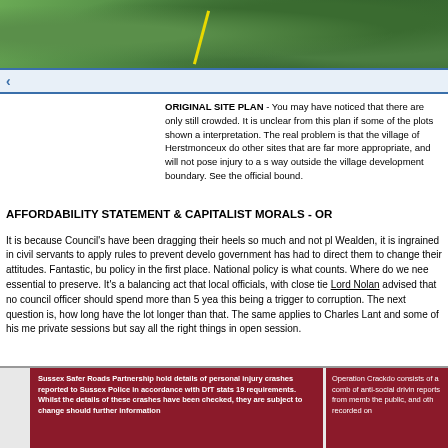[Figure (photo): Aerial view of green landscape with trees and fields, yellow dashed line visible]
ORIGINAL SITE PLAN - You may have noticed that there are only still crowded. It is unclear from this plan if some of the plots shown a interpretation. The real problem is that the village of Herstmonceux d other sites that are far more appropriate, and will not pose injury to a s way outside the village development boundary. See the official bound.
AFFORDABILITY STATEMENT & CAPITALIST MORALS - OR
It is because Council's have been dragging their heels so much and not pl Wealden, it is ingrained in civil servants to apply rules to prevent develo government has had to direct them to change their attitudes. Fantastic, bu policy in the first place. National policy is what counts. Where do we nee essential to preserve. It's a balancing act that local officials, with close tie Lord Nolan advised that no council officer should spend more than 5 yea this being a trigger to corruption. The next question is, how long have the lot longer than that. The same applies to Charles Lant and some of his me private sessions but say all the right things in open session.
Sussex Safer Roads Partnership hold details of personal injury crashes reported to Sussex Police in accordance with DfT stats 19 requirements. Whilst the details of these crashes have been checked, they are subject to change should further information
Operation Crackdo consists of a comb of anti-social drivin reports from memb the public, and oth recorded on